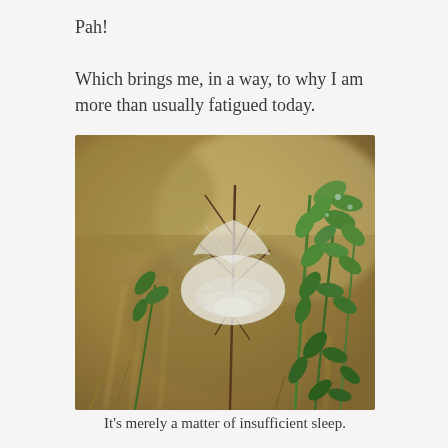Pah!

Which brings me, in a way, to why I am more than usually fatigued today.
[Figure (photo): Close-up photograph of a spider web (gossamer web) draped over dry twigs and green leafy shrub stems, against a warm blurred golden-brown background.]
It's merely a matter of insufficient sleep.